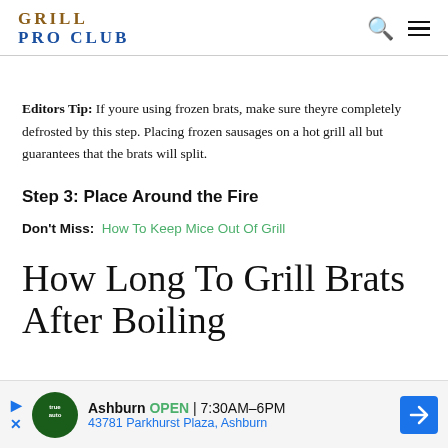GRILL PRO CLUB
Editors Tip: If youre using frozen brats, make sure theyre completely defrosted by this step. Placing frozen sausages on a hot grill all but guarantees that the brats will split.
Step 3: Place Around the Fire
Don't Miss: How To Keep Mice Out Of Grill
How Long To Grill Brats After Boiling
[Figure (other): Advertisement banner: Ashburn OPEN 7:30AM-6PM, 43781 Parkhurst Plaza, Ashburn with navigation arrow icon]